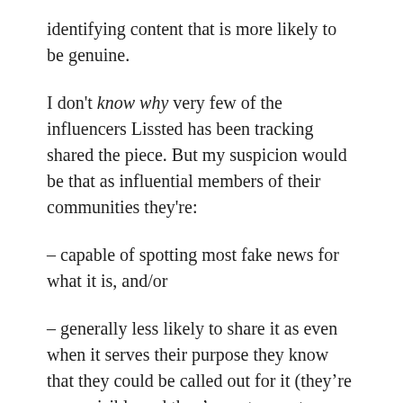identifying content that is more likely to be genuine.
I don't know why very few of the influencers Lissted has been tracking shared the piece. But my suspicion would be that as influential members of their communities they're:
– capable of spotting most fake news for what it is, and/or
– generally less likely to share it as even when it serves their purpose they know that they could be called out for it (they're more visible and they've got more to lose); and /or